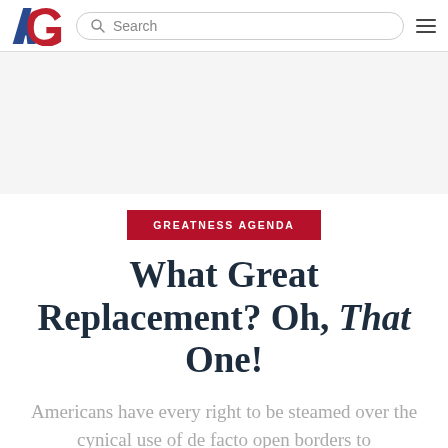AG — Search
[Figure (other): Advertisement / blank placeholder area]
GREATNESS AGENDA
What Great Replacement? Oh, That One!
Americans have every right to be steamed over the cynical use of de facto open borders to